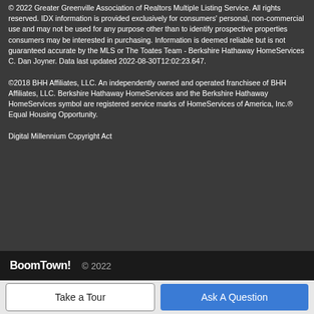© 2022 Greater Greenville Association of Realtors Multiple Listing Service. All rights reserved. IDX information is provided exclusively for consumers' personal, non-commercial use and may not be used for any purpose other than to identify prospective properties consumers may be interested in purchasing. Information is deemed reliable but is not guaranteed accurate by the MLS or The Toates Team - Berkshire Hathaway HomeServices C. Dan Joyner. Data last updated 2022-08-30T12:02:23.647.

©2018 BHH Affiliates, LLC. An independently owned and operated franchisee of BHH Affiliates, LLC. Berkshire Hathaway HomeServices and the Berkshire Hathaway HomeServices symbol are registered service marks of HomeServices of America, Inc.® Equal Housing Opportunity.

Digital Millennium Copyright Act
BoomTown! © 2022
Take a Tour
Ask A Question